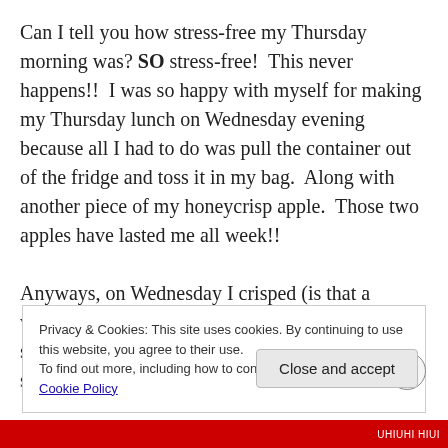Can I tell you how stress-free my Thursday morning was? SO stress-free!  This never happens!!  I was so happy with myself for making my Thursday lunch on Wednesday evening because all I had to do was pull the container out of the fridge and toss it in my bag.  Along with another piece of my honeycrisp apple.  Those two apples have lasted me all week!!

Anyways, on Wednesday I crisped (is that a word?) up some tofu then combined it with a spoonful of leftover quinoa mixture and a tiny sprinkle of cheese.  All rolled up
Privacy & Cookies: This site uses cookies. By continuing to use this website, you agree to their use.
To find out more, including how to control cookies, see here: Cookie Policy
Close and accept